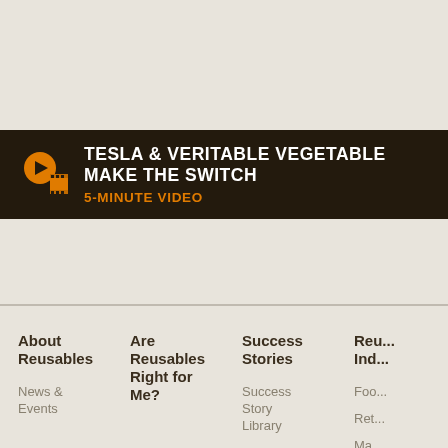[Figure (screenshot): Website banner with dark brown background showing 'TESLA & VERITABLE VEGETABLE MAKE THE SWITCH' in white bold uppercase text with '5-MINUTE VIDEO' in orange below, with a film/video icon on the left. A second partially visible banner section on the right shows a phone icon and partial text 'RE...']
About Reusables
News & Events
Are Reusables Right for Me?
Success Stories
Success Story Library
Add Your Story
Video Gallery
Reu... Ind...
Foo...
Ret...
Ma...
Hea...
Pub...
Offi...